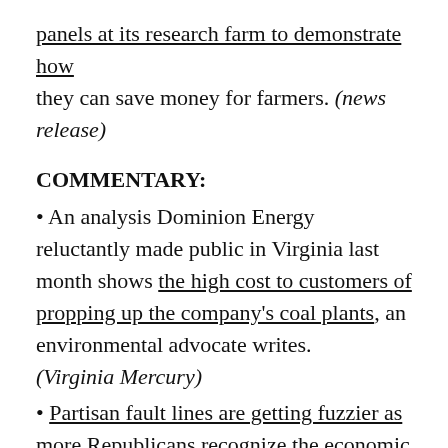panels at its research farm to demonstrate how they can save money for farmers. (news release)
COMMENTARY:
• An analysis Dominion Energy reluctantly made public in Virginia last month shows the high cost to customers of propping up the company's coal plants, an environmental advocate writes. (Virginia Mercury)
• Partisan fault lines are getting fuzzier as more Republicans recognize the economic potential of clean energy, a Florida publisher writes. (Florida Politics)
• As Appalachian Power studies the impact of closing two coal-fired power plants in West Virginia, local communities and stakeholders need